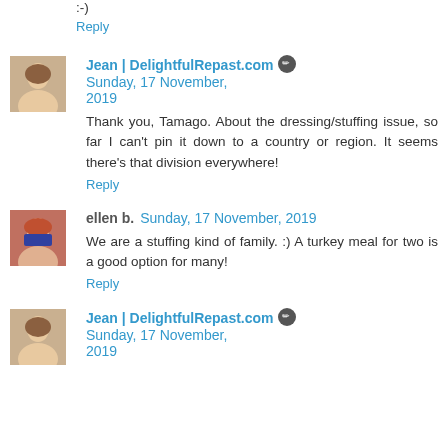:-)
Reply
Jean | DelightfulRepast.com  Sunday, 17 November, 2019
Thank you, Tamago. About the dressing/stuffing issue, so far I can't pin it down to a country or region. It seems there's that division everywhere!
Reply
ellen b.  Sunday, 17 November, 2019
We are a stuffing kind of family. :) A turkey meal for two is a good option for many!
Reply
Jean | DelightfulRepast.com  Sunday, 17 November, 2019